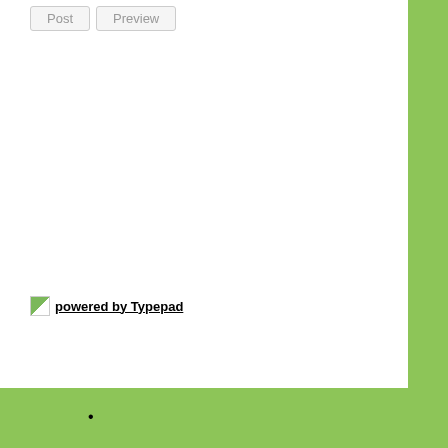[Figure (screenshot): Post and Preview buttons in a web form UI]
powered by Typepad
WHAT'S PARENT TALK TODAY?
At Parent Talk Today, we chat about everything that's on your mind as a parent. Grab that Frappuccino and join us for book and movie reviews, videos, tips, a little whining, and a lot of fun. We're the next-door neighbor you wish you had!